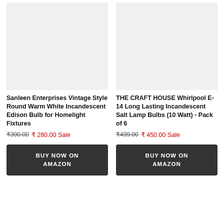[Figure (photo): Product image placeholder for Sanleen Enterprises Vintage Style Round Warm White Incandescent Edison Bulb]
[Figure (photo): Product image placeholder for THE CRAFT HOUSE Whirlpool E-14 Long Lasting Incandescent Salt Lamp Bulbs]
Sanleen Enterprises Vintage Style Round Warm White Incandescent Edison Bulb for Homelight Fixtures
₹300.00  ₹ 280.00 Sale
BUY NOW ON AMAZON
THE CRAFT HOUSE Whirlpool E-14 Long Lasting Incandescent Salt Lamp Bulbs (10 Watt) - Pack of 6
₹499.00  ₹ 450.00 Sale
BUY NOW ON AMAZON